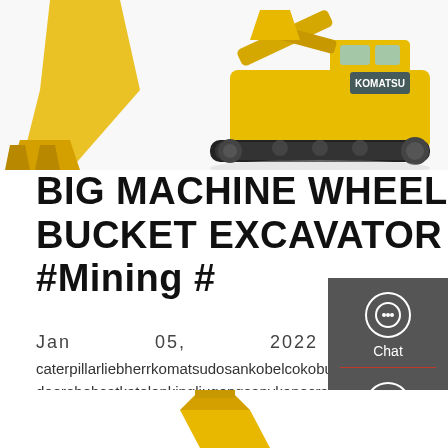[Figure (photo): Yellow excavator machine at top of page, showing bucket arm on left and full machine on right against white background]
BIG MACHINE WHEEL BUCKET EXCAVATOR #Quarry #Mining #
Jan    05,    2022
caterpillarliebherrkomatsudosankobelcokobutajohndeeredeerebobcatkatolonkingliugongsanykonecranesgrovet...
[Figure (screenshot): Right sidebar with Chat, Email, and Contact icons on dark grey background]
Get a Quote
[Figure (photo): Partial yellow excavator bucket visible at bottom of page]